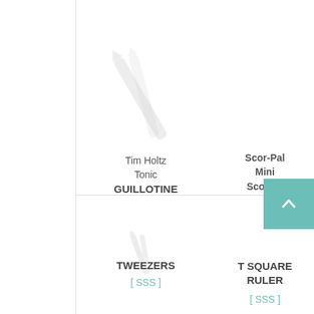[Figure (photo): Tim Holtz Tonic Guillotine product image - scissors/cutter illustration]
Tim Holtz Tonic GUILLOTINE
[ SSS ]
[Figure (photo): Scor-Pal Mini Scoring Board product image]
Scor-Pal Mini Scoring Board
[ SSS ]
[Figure (photo): EK Success Cutter product - partially visible]
EK S CU Sc
[
[Figure (photo): Tweezers product image - small scissors illustration]
TWEEZERS
[ SSS ]
[Figure (photo): T Square Ruler product image]
T SQUARE RULER
[ SSS ]
Cr Com Gl JU
[